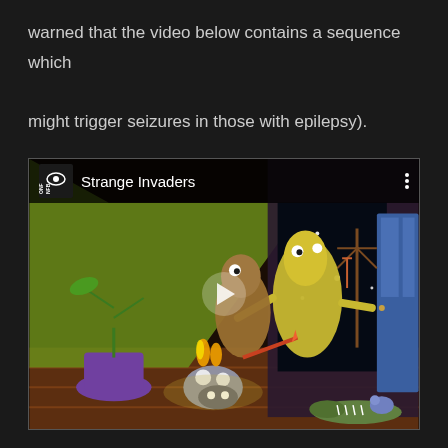warned that the video below contains a sequence which might trigger seizures in those with epilepsy).
[Figure (screenshot): YouTube/NFB embedded video thumbnail showing 'Strange Invaders' animated film. The thumbnail depicts a cartoon scene with alien-like characters in a house interior. The NFB (National Film Board of Canada) logo with eye icon is visible in the upper left of the video player. A play button is overlaid in the center. Three-dot menu icon is in the upper right.]